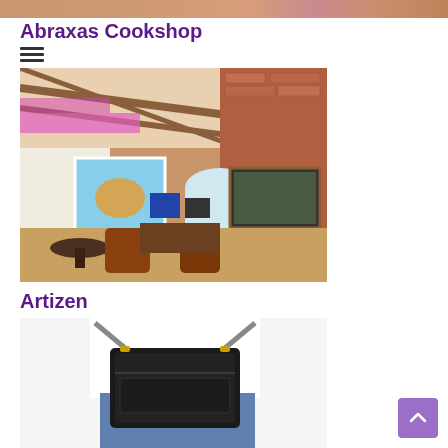[Figure (photo): Top cropped image strip showing a pink/purple lit interior scene]
Abraxas Cookshop
[Figure (photo): Interior of Abraxas Cookshop showing a rustic brick-walled gallery/shop space with wooden beam ceiling, pink accent lighting, crystal chandelier, large artwork prints on walls including animal paintings, leather chairs, and display tables]
Artizen
[Figure (photo): Person wearing white top and denim jeans holding a black handbag with gold hardware straps]